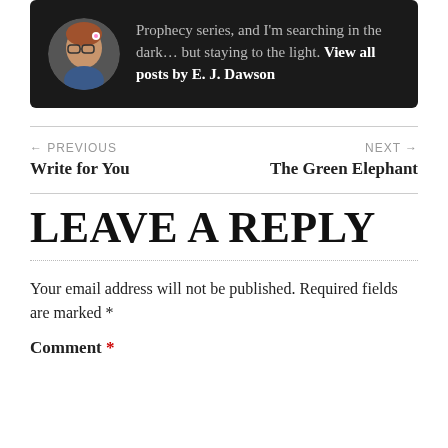[Figure (photo): Author bio box with circular avatar photo of a woman with glasses, on dark background. Text reads: 'Prophecy series, and I'm searching in the dark... but staying to the light. View all posts by E. J. Dawson']
← PREVIOUS
Write for You
NEXT →
The Green Elephant
LEAVE A REPLY
Your email address will not be published. Required fields are marked *
Comment *